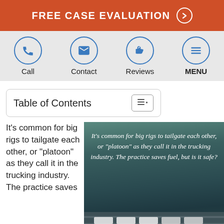FREE CASE EVALUATION
[Figure (infographic): Navigation bar with four circular icon buttons: Call (phone icon), Contact (envelope icon), Reviews (thumbs up icon), MENU (hamburger menu icon) on a light gray background]
Table of Contents
[Figure (photo): Aerial photograph of big rig trucks on a highway with overlay text: It's common for big rigs to tailgate each other, or "platoon" as they call it in the trucking industry. The practice saves fuel, but is it safe?]
It's common for big rigs to tailgate each other, or “platoon” as they call it in the trucking industry. The practice saves